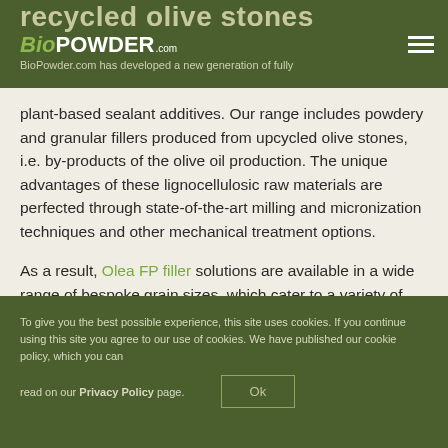recycled olive stones
BioPOWDER.com — BioPowder.com has developed a new generation of fully
plant-based sealant additives. Our range includes powdery and granular fillers produced from upcycled olive stones, i.e. by-products of the olive oil production. The unique advantages of these lignocellulosic raw materials are perfected through state-of-the-art milling and micronization techniques and other mechanical treatment options.
As a result, Olea FP filler solutions are available in a wide range of bespoke grain sizes, which cater to a variety of texture and rheology requirements. They are not only suitable to replace conventional mineral fillers (talcum, calcium carbonate, glass powder, precipitated silica, etc.) but also to add reactive properties to numerous sealant
To give you the best possible experience, this site uses cookies. If you continue using this site you agree to our use of cookies. We have published our cookie policy, which you can read on our Privacy Policy page. Ok